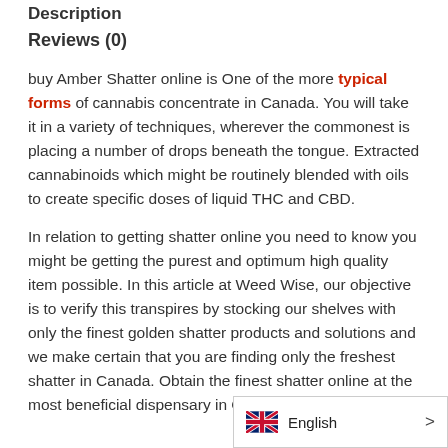Description
Reviews (0)
buy Amber Shatter online is One of the more typical forms of cannabis concentrate in Canada. You will take it in a variety of techniques, wherever the commonest is placing a number of drops beneath the tongue. Extracted cannabinoids which might be routinely blended with oils to create specific doses of liquid THC and CBD.
In relation to getting shatter online you need to know you might be getting the purest and optimum high quality item possible. In this article at Weed Wise, our objective is to verify this transpires by stocking our shelves with only the finest golden shatter products and solutions and we make certain that you are finding only the freshest shatter in Canada. Obtain the finest shatter online at the most beneficial dispensary in Canada a...